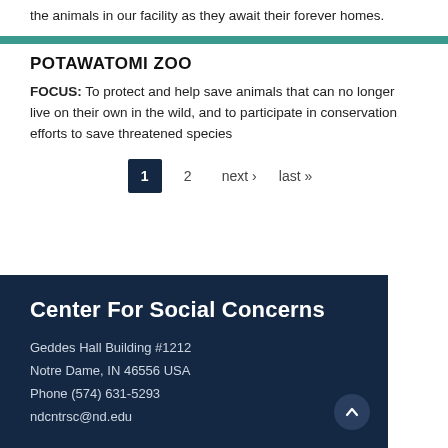the animals in our facility as they await their forever homes.
POTAWATOMI ZOO
FOCUS: To protect and help save animals that can no longer live on their own in the wild, and to participate in conservation efforts to save threatened species
1  2  next ›  last »
Center For Social Concerns
Geddes Hall Building #1212
Notre Dame, IN 46556 USA
Phone (574) 631-5293
ndcntrsc@nd.edu